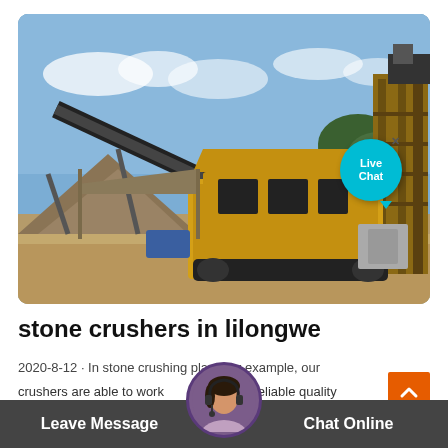[Figure (photo): Outdoor photo of a mobile stone crusher machine (yellow and black) on a construction/quarry site with conveyor belts, steel structures, and piles of crushed stone under a blue sky.]
stone crushers in lilongwe
2020-8-12 · In stone crushing plant, for example, our crushers are able to work continuously with reliable quality and crushing economy. Our crusher machine is suitable